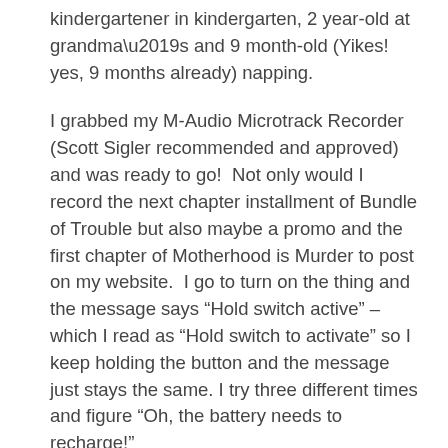kindergartener in kindergarten, 2 year-old at grandma’s and 9 month-old (Yikes! yes, 9 months already) napping.
I grabbed my M-Audio Microtrack Recorder (Scott Sigler recommended and approved) and was ready to go!  Not only would I record the next chapter installment of Bundle of Trouble but also maybe a promo and the first chapter of Motherhood is Murder to post on my website.  I go to turn on the thing and the message says “Hold switch active” – which I read as “Hold switch to activate” so I keep holding the button and the message just stays the same. I try three different times and figure “Oh, the battery needs to recharge!”
I’m extremely disappointed – what with the